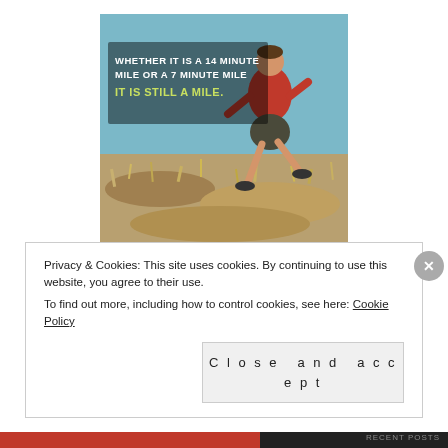[Figure (illustration): Motivational image of a runner on a trail with text overlay: 'WHETHER IT IS A 14 MINUTE MILE OR A 7 MINUTE MILE IT IS STILL A MILE.']
But lastly, a third part  to my lack of drive is more recent, and many will say its resolvable as well, as it simply requires mental
Privacy & Cookies: This site uses cookies. By continuing to use this website, you agree to their use.
To find out more, including how to control cookies, see here: Cookie Policy

Close and accept